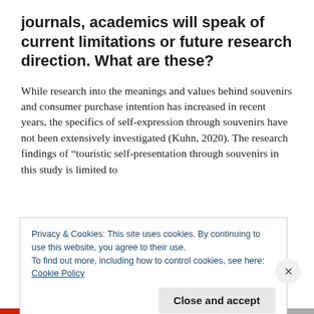journals, academics will speak of current limitations or future research direction. What are these?
While research into the meanings and values behind souvenirs and consumer purchase intention has increased in recent years, the specifics of self-expression through souvenirs have not been extensively investigated (Kuhn, 2020). The research findings of “touristic self-presentation through souvenirs in this study is limited to
Privacy & Cookies: This site uses cookies. By continuing to use this website, you agree to their use.
To find out more, including how to control cookies, see here: Cookie Policy